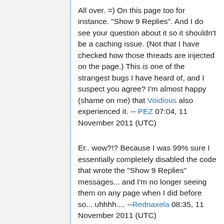All over. =) On this page too for instance. "Show 9 Replies". And I do see your question about it so it shouldn't be a caching issue. (Not that I have checked how those threads are injected on the page.) This is one of the strangest bugs I have heard of, and I suspect you agree? I'm almost happy (shame on me) that Voidious also experienced it. -- PEZ 07:04, 11 November 2011 (UTC)
Er.. wow?!? Because I was 99% sure I essentially completely disabled the code that wrote the "Show 9 Replies" messages... and I'm no longer seeing them on any page when I did before so... uhhhh.... --Rednaxela 08:35, 11 November 2011 (UTC)
Maybe the server caches compiled PHP somehow? But why just for me.... -- PEZ